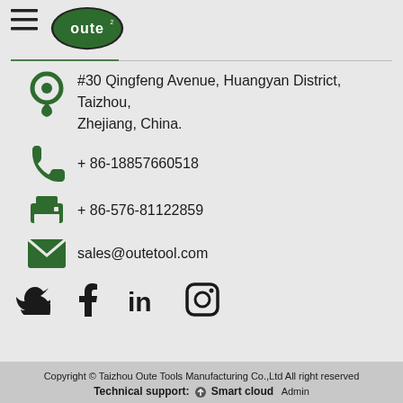[Figure (logo): Oute Tools green circular logo with white text 'oute' and serrated edge]
#30 Qingfeng Avenue, Huangyan District, Taizhou, Zhejiang, China.
+ 86-18857660518
+ 86-576-81122859
sales@outetool.com
[Figure (illustration): Social media icons: Twitter, Facebook, LinkedIn, Instagram]
Copyright © Taizhou Oute Tools Manufacturing Co.,Ltd All right reserved
Technical support: Smart cloud  Admin